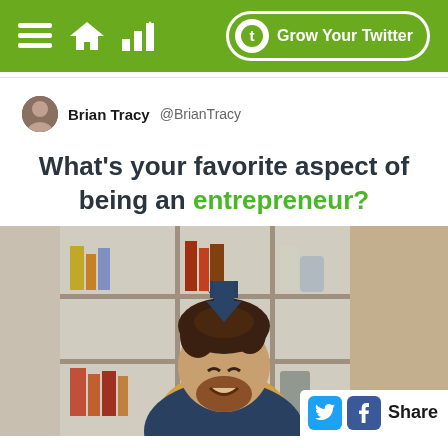Grow Your Twitter
Brian Tracy @BrianTracy
What's your favorite aspect of being an entrepreneur?
[Figure (photo): Photo of a smiling bearded man in a yellow shirt and blue jacket, with a bookshelf in the background and a dark blue downward arrow pointing at his head. Share buttons for Twitter and Facebook in bottom right corner.]